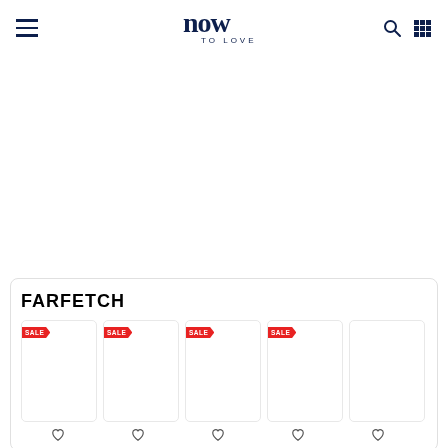Now To Love — navigation header with hamburger menu, logo, search and grid icons
[Figure (logo): Now To Love logo — stylized 'now' in dark navy with 'TO LOVE' beneath in small caps]
FARFETCH
[Figure (other): Row of 5 Farfetch product cards, first four with red SALE banner tags, all showing empty white product image areas]